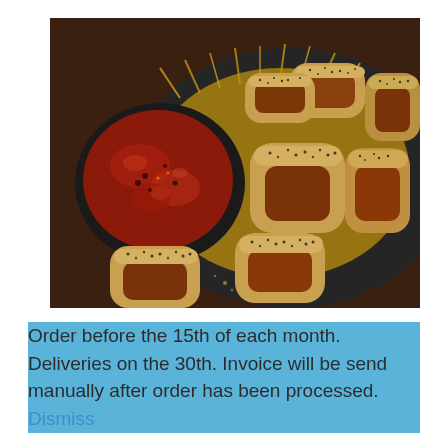[Figure (photo): Photo of sausage rolls topped with black poppy seeds arranged on a dark plate with a small bowl of red dipping sauce, placed on a yellow burlap/hessian fabric]
Order before the 15th of each month. Deliveries on the 30th. Invoice will be send manually after order has been processed. Dismiss